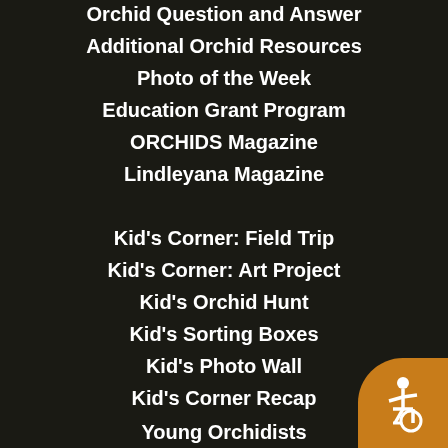Orchid Question and Answer
Additional Orchid Resources
Photo of the Week
Education Grant Program
ORCHIDS Magazine
Lindleyana Magazine
Kid's Corner: Field Trip
Kid's Corner: Art Project
Kid's Orchid Hunt
Kid's Sorting Boxes
Kid's Photo Wall
Kid's Corner Recap
Young Orchidists
[Figure (illustration): Accessibility icon button - person in wheelchair symbol on orange rounded square background in bottom right corner]